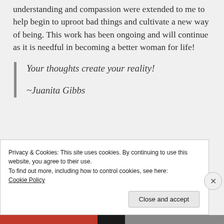understanding and compassion were extended to me to help begin to uproot bad things and cultivate a new way of being. This work has been ongoing and will continue as it is needful in becoming a better woman for life!
Your thoughts create your reality!

~Juanita Gibbs
Privacy & Cookies: This site uses cookies. By continuing to use this website, you agree to their use.
To find out more, including how to control cookies, see here:
Cookie Policy